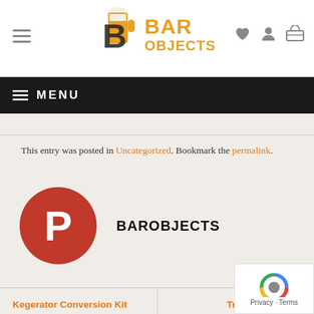Bar Objects website header with logo and navigation icons
MENU
This entry was posted in Uncategorized. Bookmark the permalink.
[Figure (illustration): Author avatar: red circle with white letter P, next to author name BAROBJECTS]
BAROBJECTS
Kegerator Conversion Kit
Tri Clamp Fitting